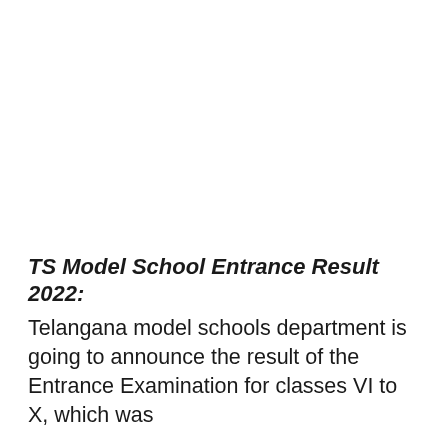TS Model School Entrance Result 2022:
Telangana model schools department is going to announce the result of the Entrance Examination for classes VI to X, which was